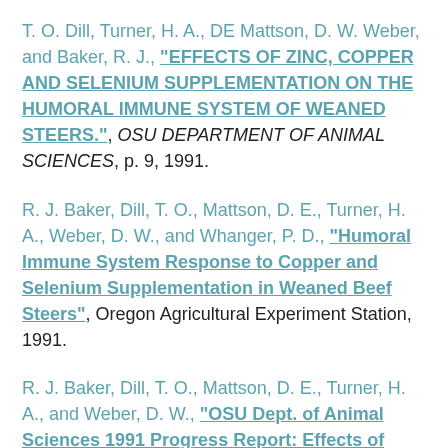T. O. Dill, Turner, H. A., DE Mattson, D. W. Weber, and Baker, R. J., "EFFECTS OF ZINC, COPPER AND SELENIUM SUPPLEMENTATION ON THE HUMORAL IMMUNE SYSTEM OF WEANED STEERS.", OSU DEPARTMENT OF ANIMAL SCIENCES, p. 9, 1991.
R. J. Baker, Dill, T. O., Mattson, D. E., Turner, H. A., Weber, D. W., and Whanger, P. D., "Humoral Immune System Response to Copper and Selenium Supplementation in Weaned Beef Steers", Oregon Agricultural Experiment Station, 1991.
R. J. Baker, Dill, T. O., Mattson, D. E., Turner, H. A., and Weber, D. W., "OSU Dept. of Animal Sciences 1991 Progress Report: Effects of Zinc, Copper and...